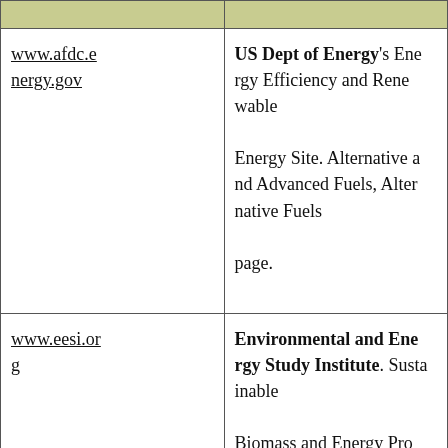| URL | Description |
| --- | --- |
| www.afdc.energy.gov | US Dept of Energy's Energy Efficiency and Renewable Energy Site. Alternative and Advanced Fuels, Alternative Fuels page. |
| www.eesi.org | Environmental and Energy Study Institute. Sustainable Biomass and Energy Program. EESI's strategy is t o hav... |